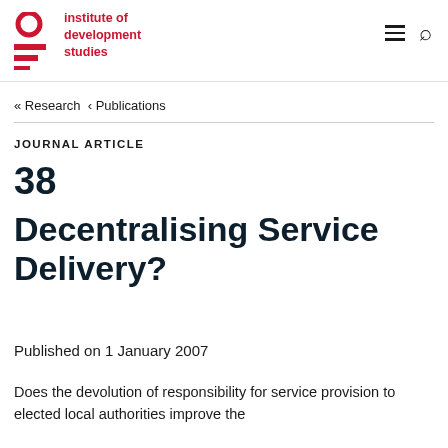[Figure (logo): Institute of Development Studies logo — red circle, red horizontal bars, red text reading 'institute of development studies']
institute of development studies
« Research < Publications
JOURNAL ARTICLE
38
Decentralising Service Delivery?
Published on 1 January 2007
Does the devolution of responsibility for service provision to elected local authorities improve the